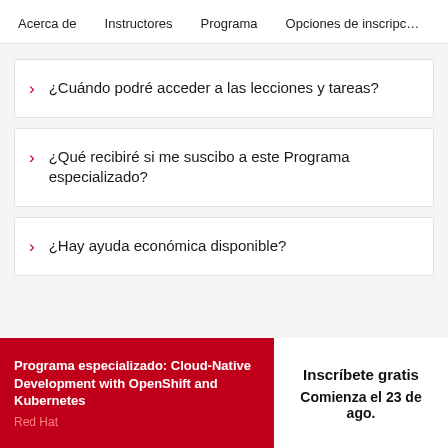Acerca de   Instructores   Programa   Opciones de inscripción
¿Cuándo podré acceder a las lecciones y tareas?
¿Qué recibiré si me suscibo a este Programa especializado?
¿Hay ayuda económica disponible?
Programa especializado: Cloud-Native Development with OpenShift and Kubernetes
Red Hat
Inscríbete gratis
Comienza el 23 de ago.